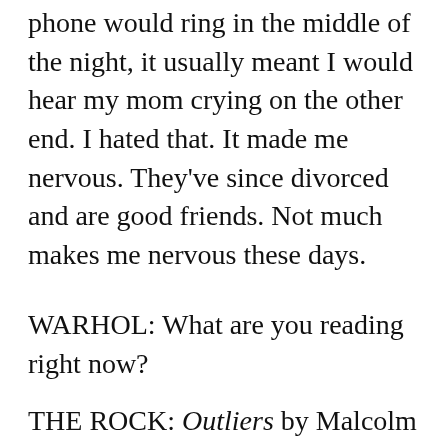phone would ring in the middle of the night, it usually meant I would hear my mom crying on the other end. I hated that. It made me nervous. They've since divorced and are good friends. Not much makes me nervous these days.
WARHOL: What are you reading right now?
THE ROCK: Outliers by Malcolm Gladwell, and after watching a documentary about him, I just picked up Pimp: The Story of My Life by Iceberg Slim...